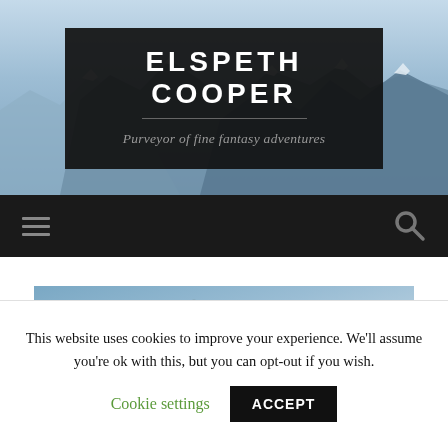[Figure (illustration): Mountain landscape background with blue sky and snow-capped peaks, used as hero banner background]
ELSPETH COOPER
Purveyor of fine fantasy adventures
[Figure (illustration): Navigation bar with hamburger menu icon on left and search icon on right, dark background]
[Figure (photo): Close-up photo of a laptop keyboard and touchpad, blue-tinted]
This website uses cookies to improve your experience. We'll assume you're ok with this, but you can opt-out if you wish.
Cookie settings
ACCEPT